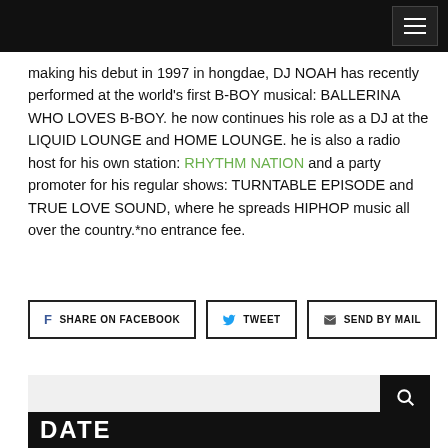[Figure (screenshot): Black header bar with hamburger menu button (three white lines) on the right side]
making his debut in 1997 in hongdae, DJ NOAH has recently performed at the world's first B-BOY musical: BALLERINA WHO LOVES B-BOY. he now continues his role as a DJ at the LIQUID LOUNGE and HOME LOUNGE. he is also a radio host for his own station: RHYTHM NATION and a party promoter for his regular shows: TURNTABLE EPISODE and TRUE LOVE SOUND, where he spreads HIPHOP music all over the country.*no entrance fee.
[Figure (screenshot): Three share buttons: SHARE ON FACEBOOK (with Facebook icon), TWEET (with Twitter bird icon), SEND BY MAIL (with envelope icon)]
[Figure (screenshot): Search bar with light grey input field and black search button with magnifying glass icon]
DATE